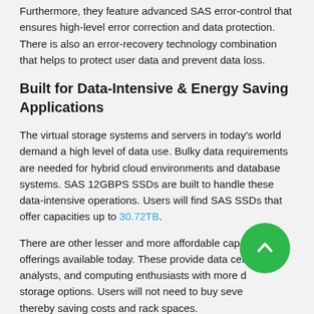Furthermore, they feature advanced SAS error-control that ensures high-level error correction and data protection. There is also an error-recovery technology combination that helps to protect user data and prevent data loss.
Built for Data-Intensive & Energy Saving Applications
The virtual storage systems and servers in today's world demand a high level of data use. Bulky data requirements are needed for hybrid cloud environments and database systems. SAS 12GBPS SSDs are built to handle these data-intensive operations. Users will find SAS SSDs that offer capacities up to 30.72TB.
There are other lesser and more affordable capacity offerings available today. These provide data centers, analysts, and computing enthusiasts with more diverse storage options. Users will not need to buy several drives, thereby saving costs and rack spaces.
Also, these SAS 12GBPS SSDs come in various endurance ratings, depending on the operations they are